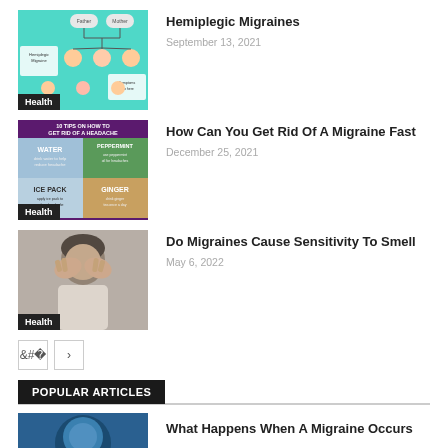[Figure (illustration): Hemiplegic Migraines infographic thumbnail with family tree diagram on green background with Health badge]
Hemiplegic Migraines
September 13, 2021
[Figure (infographic): 10 Tips On How To Get Rid Of A Headache infographic with Water, Peppermint, Ice Pack, Ginger sections with Health badge]
How Can You Get Rid Of A Migraine Fast
December 25, 2021
[Figure (photo): Person holding head in hands with Health badge]
Do Migraines Cause Sensitivity To Smell
May 6, 2022
POPULAR ARTICLES
[Figure (photo): Blue-toned photo thumbnail for What Happens When A Migraine Occurs]
What Happens When A Migraine Occurs